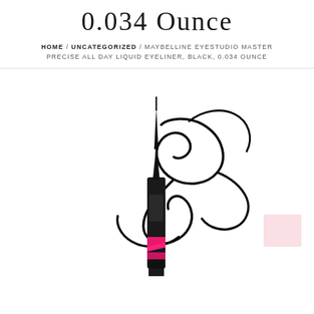0.034 Ounce
HOME / UNCATEGORIZED / MAYBELLINE EYESTUDIO MASTER PRECISE ALL DAY LIQUID EYELINER, BLACK, 0.034 OUNCE
[Figure (photo): Maybelline Eyestudio Master Precise All Day Liquid Eyeliner in black with pink accents, shown with decorative ink swirl strokes around the pen tip]